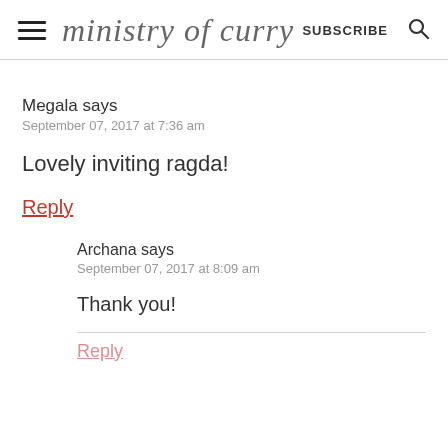ministry of curry  SUBSCRIBE
Megala says
September 07, 2017 at 7:36 am
Lovely inviting ragda!
Reply
Archana says
September 07, 2017 at 8:09 am
Thank you!
Reply